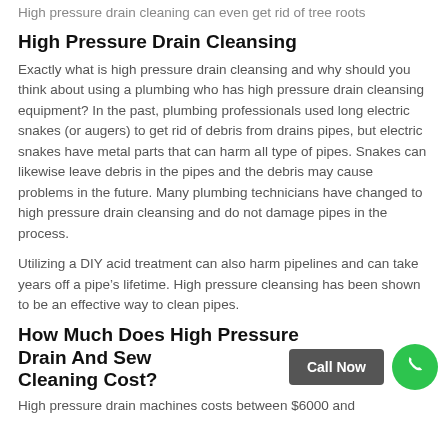High pressure drain cleaning can even get rid of tree roots
High Pressure Drain Cleansing
Exactly what is high pressure drain cleansing and why should you think about using a plumbing who has high pressure drain cleansing equipment? In the past, plumbing professionals used long electric snakes (or augers) to get rid of debris from drains pipes, but electric snakes have metal parts that can harm all type of pipes. Snakes can likewise leave debris in the pipes and the debris may cause problems in the future. Many plumbing technicians have changed to high pressure drain cleansing and do not damage pipes in the process.
Utilizing a DIY acid treatment can also harm pipelines and can take years off a pipe’s lifetime. High pressure cleansing has been shown to be an effective way to clean pipes.
How Much Does High Pressure Drain And Sewer Cleaning Cost?
High pressure drain machines costs between $6000 and